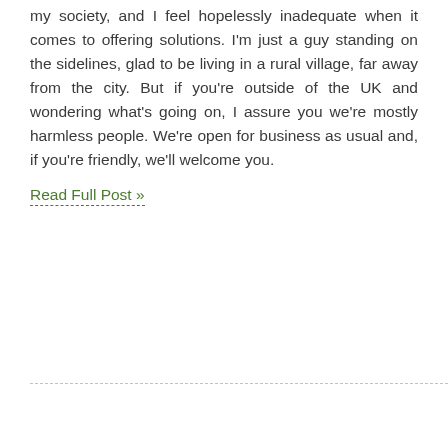my society, and I feel hopelessly inadequate when it comes to offering solut... just a guy standing on the sidelines, glad to be living in a rural village, far a... city. But if you're outside of the UK and wondering what's going on, I assure ... mostly harmless people. We're open for business as usual and, if you're f... welcome you.
Read Full Post »